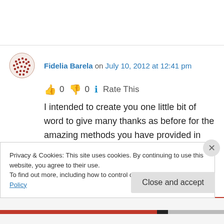Fidelia Barela on July 10, 2012 at 12:41 pm
👍 0 👎 0 ℹ Rate This
I intended to create you one little bit of word to give many thanks as before for the amazing methods you have provided in this case. It is so pretty open-handed of people like you to convey
Privacy & Cookies: This site uses cookies. By continuing to use this website, you agree to their use.
To find out more, including how to control cookies, see here: Cookie Policy
Close and accept